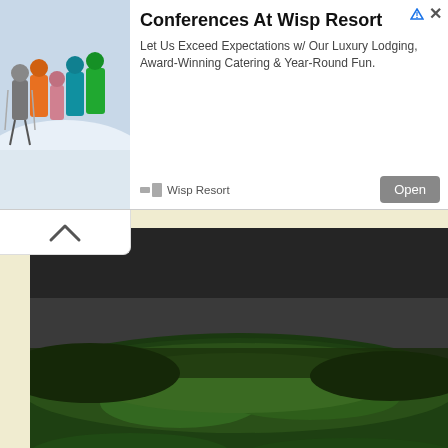[Figure (screenshot): Advertisement banner for Wisp Resort showing a group of skiers/snowboarders posing on a snowy slope. Ad text reads: 'Conferences At Wisp Resort — Let Us Exceed Expectations w/ Our Luxury Lodging, Award-Winning Catering & Year-Round Fun.' with an Open button.]
[Figure (photo): Photograph of a grassy mound or earthwork, appearing as a flat-topped green hill against a dark, overcast sky.]
The Temple Mound was 73 by 72 meters in size, standing 4.26 meters tall. It was built in several phases. Initially there was a structure at the original ground level in the Temple Mound's location. That was removed as the first layer of the mound was built, and a new structure was built on top of that.
Then another mound layer was added, with more structures on top, these apparently domestic. Then yet another mound layer, with a large rectangular structure